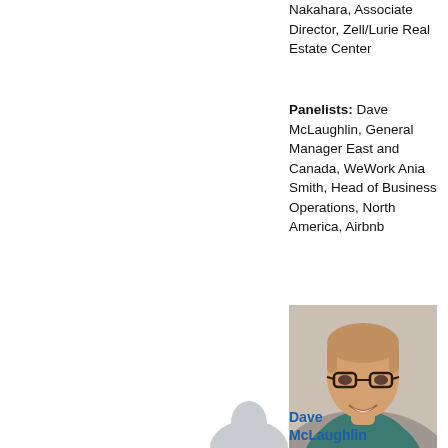Nakahara, Associate Director, Zell/Lurie Real Estate Center
Panelists: Dave McLaughlin, General Manager East and Canada, WeWork Ania Smith, Head of Business Operations, North America, Airbnb
[Figure (photo): Headshot photo of Dave McLaughlin, a man with short hair and glasses wearing a plaid shirt, smiling]
Dave McLaughlin